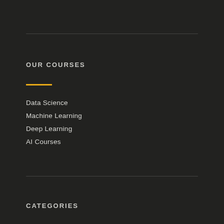OUR COURSES
Data Science
Machine Learning
Deep Learning
AI Courses
CATEGORIES